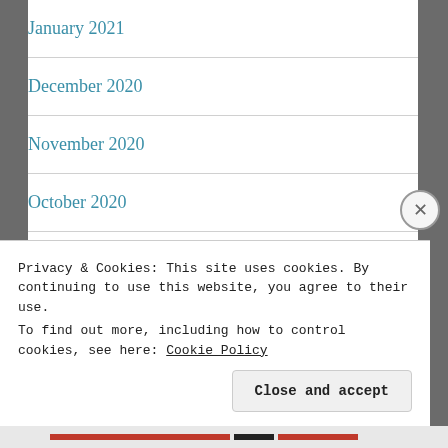January 2021
December 2020
November 2020
October 2020
September 2020
August 2020
July 2020
Privacy & Cookies: This site uses cookies. By continuing to use this website, you agree to their use.
To find out more, including how to control cookies, see here: Cookie Policy
Close and accept